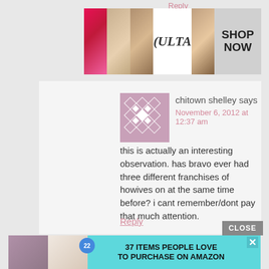Reply
[Figure (photo): Ulta Beauty advertisement banner showing makeup images (lipstick, brush, eye makeup) and the Ulta logo with 'SHOP NOW' text]
[Figure (photo): Diamond pattern avatar for user chitown shelley]
chitown shelley says
November 6, 2012 at 12:37 am
this is actually an interesting observation. has bravo ever had three different franchises of howives on at the same time before? i cant remember/dont pay that much attention.
Reply
CLOSE
[Figure (photo): Amazon advertisement showing '37 Items People Love to Purchase on Amazon' with product images and a badge showing 22]